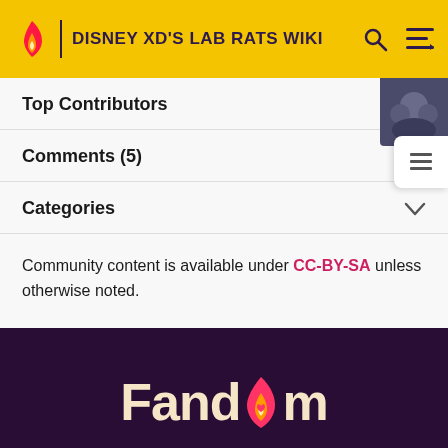DISNEY XD'S LAB RATS WIKI
Top Contributors
Comments (5)
Categories
Community content is available under CC-BY-SA unless otherwise noted.
[Figure (logo): Fandom logo in cream color on dark purple background]